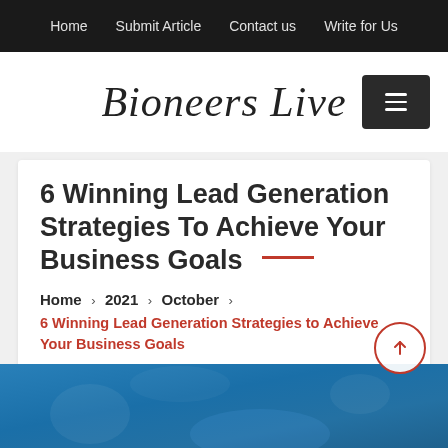Home   Submit Article   Contact us   Write for Us
[Figure (logo): Bioneers Live cursive logo with dark hamburger menu button on right]
6 Winning Lead Generation Strategies To Achieve Your Business Goals
Home > 2021 > October > 6 Winning Lead Generation Strategies to Achieve Your Business Goals
[Figure (photo): Blue toned background image, partially visible at bottom of page]